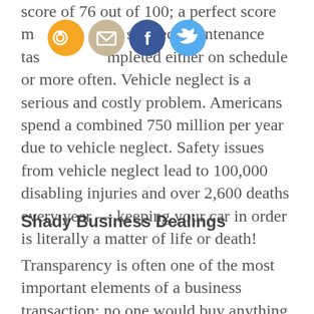score of 76 out of 100; a perfect score means all prescribed maintenance tasks are completed either on schedule or more often. Vehicle neglect is a serious and costly problem. Americans spend a combined 750 million per year due to vehicle neglect. Safety issues from vehicle neglect lead to 100,000 disabling injuries and over 2,600 deaths every year — keeping your car in order is literally a matter of life or death!
[Figure (other): Four circular social media share icons: RSS (orange), Email (beige/tan), Facebook (blue), Twitter (light blue)]
Shady Business Dealings
Transparency is often one of the most important elements of a business transaction; no one would buy anything if they weren't 100% sure of what they were actually getting. Despite common